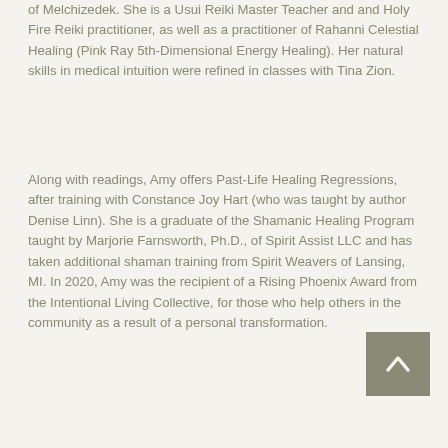of Melchizedek. She is a Usui Reiki Master Teacher and and Holy Fire Reiki practitioner, as well as a practitioner of Rahanni Celestial Healing (Pink Ray 5th-Dimensional Energy Healing). Her natural skills in medical intuition were refined in classes with Tina Zion.
Along with readings, Amy offers Past-Life Healing Regressions, after training with Constance Joy Hart (who was taught by author Denise Linn). She is a graduate of the Shamanic Healing Program taught by Marjorie Farnsworth, Ph.D., of Spirit Assist LLC and has taken additional shaman training from Spirit Weavers of Lansing, MI. In 2020, Amy was the recipient of a Rising Phoenix Award from the Intentional Living Collective, for those who help others in the community as a result of a personal transformation.
[Figure (other): Back to top button - a grey square button with an upward-pointing chevron/arrow icon]